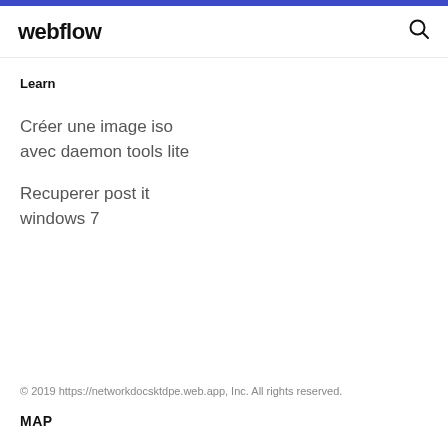webflow
Learn
Créer une image iso avec daemon tools lite
Recuperer post it windows 7
© 2019 https://networkdocsktdpe.web.app, Inc. All rights reserved.
MAP